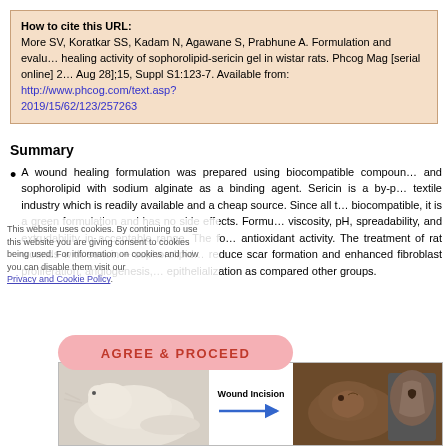How to cite this URL: More SV, Koratkar SS, Kadam N, Agawane S, Prabhune A. Formulation and evaluation of wound healing activity of sophorolipid-sericin gel in wistar rats. Phcog Mag [serial online] 2019 [cited 2019 Aug 28];15, Suppl S1:123-7. Available from: http://www.phcog.com/text.asp?2019/15/62/123/257263
Summary
A wound healing formulation was prepared using biocompatible compounds such as sericin and sophorolipid with sodium alginate as a binding agent. Sericin is a by-product of the textile industry which is readily available and a cheap source. Since all the components are biocompatible, it is a green formulation and has no side effects. Formulation showed viscosity, pH, spreadability, and extrudability in acceptable range. The formulation has antioxidant activity. The treatment of rat wounds with sericin + sophorolipid was found to reduce scar formation and enhanced fibroblast proliferation, angiogenesis, and re-epithelialization as compared other groups.
[Figure (photo): Scientific figure showing wound incision in a rat with arrow and rat with wound photograph]